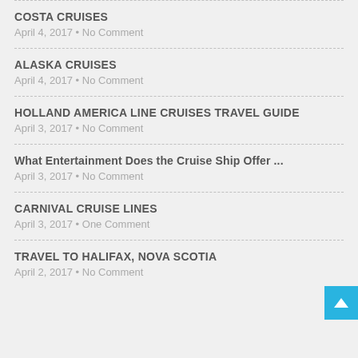COSTA CRUISES
April 4, 2017 • No Comment
ALASKA CRUISES
April 4, 2017 • No Comment
HOLLAND AMERICA LINE CRUISES TRAVEL GUIDE
April 3, 2017 • No Comment
What Entertainment Does the Cruise Ship Offer ...
April 3, 2017 • No Comment
CARNIVAL CRUISE LINES
April 3, 2017 • One Comment
TRAVEL TO HALIFAX, NOVA SCOTIA
April 2, 2017 • No Comment